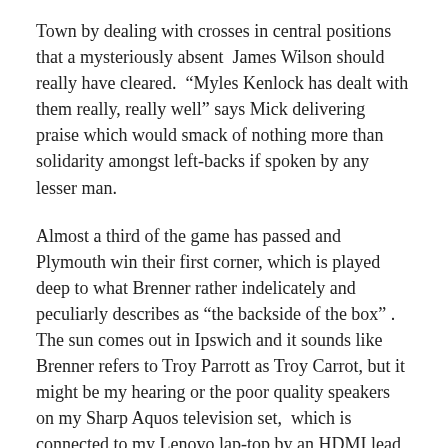Town by dealing with crosses in central positions that a mysteriously absent  James Wilson should really have cleared.  “Myles Kenlock has dealt with them really, really well” says Mick delivering praise which would smack of nothing more than solidarity amongst left-backs if spoken by any lesser man.
Almost a third of the game has passed and Plymouth win their first corner, which is played deep to what Brenner rather indelicately and peculiarly describes as “the backside of the box” .  The sun comes out in Ipswich and it sounds like Brenner refers to Troy Parrott as Troy Carrot, but it might be my hearing or the poor quality speakers on my Sharp Aquos television set,  which is connected to my Lenovo lap-top by an HDMI lead – or so I’m told.